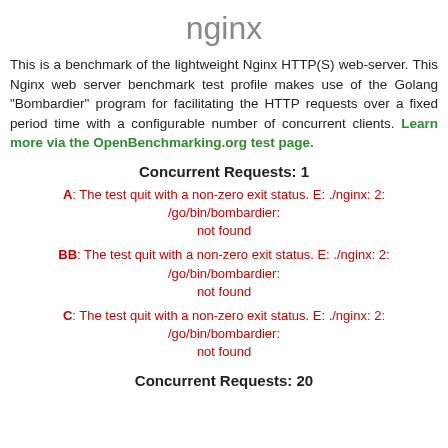nginx
This is a benchmark of the lightweight Nginx HTTP(S) web-server. This Nginx web server benchmark test profile makes use of the Golang "Bombardier" program for facilitating the HTTP requests over a fixed period time with a configurable number of concurrent clients. Learn more via the OpenBenchmarking.org test page.
Concurrent Requests: 1
A: The test quit with a non-zero exit status. E: ./nginx: 2: /go/bin/bombardier: not found
BB: The test quit with a non-zero exit status. E: ./nginx: 2: /go/bin/bombardier: not found
C: The test quit with a non-zero exit status. E: ./nginx: 2: /go/bin/bombardier: not found
Concurrent Requests: 20